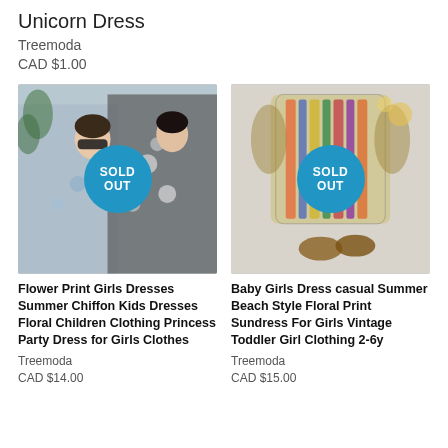Unicorn Dress
Treemoda
CAD $1.00
[Figure (photo): Two young girls wearing floral dresses, one light blue floral and one dark floral, with a SOLD OUT badge overlay]
[Figure (photo): A colorful striped/patterned child's dress laid flat with shoes, with a SOLD OUT badge overlay]
Flower Print Girls Dresses Summer Chiffon Kids Dresses Floral Children Clothing Princess Party Dress for Girls Clothes
Treemoda
CAD $14.00
Baby Girls Dress casual Summer Beach Style Floral Print Sundress For Girls Vintage Toddler Girl Clothing 2-6y
Treemoda
CAD $15.00